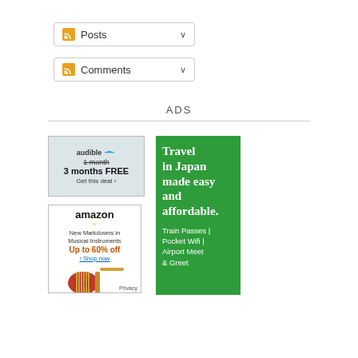Posts
Comments
ADS
[Figure (other): Audible ad: 1 month strikethrough, 3 months FREE, Get this deal]
[Figure (other): Amazon ad: New Markdowns in Musical Instruments, Up to 60% off, Shop now, guitar image, Privacy label]
[Figure (other): Green travel ad: Travel in Japan made easy and affordable. Train Passes | Pocket Wifi | Airport Meet & Greet]